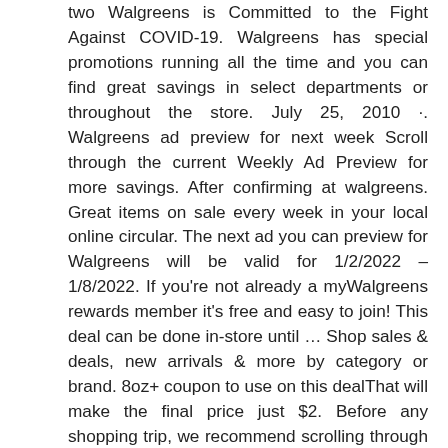two Walgreens is Committed to the Fight Against COVID-19. Walgreens has special promotions running all the time and you can find great savings in select departments or throughout the store. July 25, 2010 ·. Walgreens ad preview for next week Scroll through the current Weekly Ad Preview for more savings. After confirming at walgreens. Great items on sale every week in your local online circular. The next ad you can preview for Walgreens will be valid for 1/2/2022 – 1/8/2022. If you're not already a myWalgreens rewards member it's free and easy to join! This deal can be done in-store until … Shop sales & deals, new arrivals & more by category or brand. 8oz+ coupon to use on this dealThat will make the final price just $2. Before any shopping trip, we recommend scrolling through the Walgreens flyer on Rabato to find discounts on candy, cosmetics, and more! You … Scroll through the latest Weekly Ad Preview above or see weekly ad previews for other stores Here!. Fujifilm Instax Mini Instant Film Twin Pack - White (16437396) $3. 1515 Hwy 5 North 138 Benton - Harps Food Store #138. Select feminine care products at Walgreens are now on sale! Buy eligible items of a total worth of $35+ and